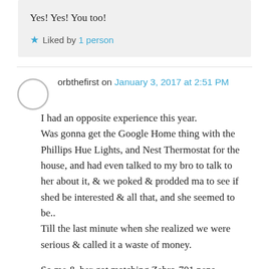Yes! Yes! You too!
Liked by 1 person
orbthefirst on January 3, 2017 at 2:51 PM
I had an opposite experience this year. Was gonna get the Google Home thing with the Phillips Hue Lights, and Nest Thermostat for the house, and had even talked to my bro to talk to her about it, & we poked & prodded ma to see if shed be interested & all that, and she seemed to be.. Till the last minute when she realized we were serious & called it a waste of money.

So me & her got matching Zebra-701 pens